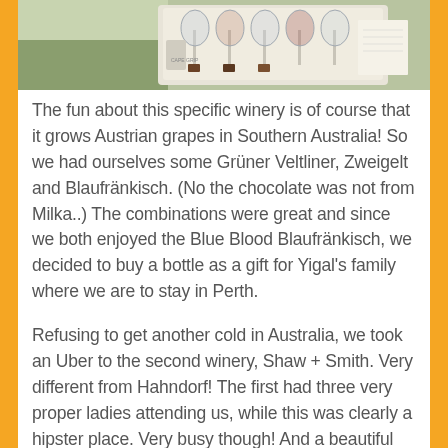[Figure (photo): Photo strip at top showing winery tasting experience with glasses and plates on a white tray outdoors]
The fun about this specific winery is of course that it grows Austrian grapes in Southern Australia! So we had ourselves some Grüner Veltliner, Zweigelt and Blaufränkisch. (No the chocolate was not from Milka..) The combinations were great and since we both enjoyed the Blue Blood Blaufränkisch, we decided to buy a bottle as a gift for Yigal's family where we are to stay in Perth.
Refusing to get another cold in Australia, we took an Uber to the second winery, Shaw + Smith. Very different from Hahndorf! The first had three very proper ladies attending us, while this was clearly a hipster place. Very busy though! And a beautiful vineyard surrounding the modern tasting room. We enjoyed our wines, but preferred those from